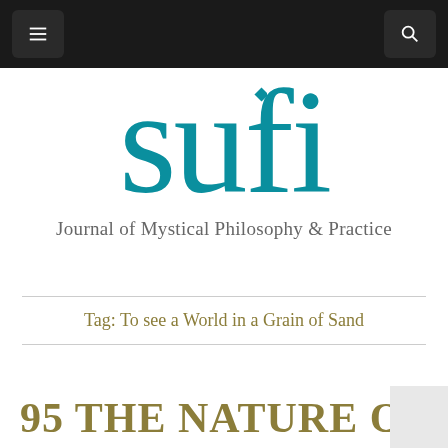sufi — navigation bar with menu and search icons
[Figure (logo): Sufi journal logo: large teal lowercase 'sufi' text with a small teal diamond above the letter 'i', subtitle reads 'Journal of Mystical Philosophy & Practice']
Tag: To see a World in a Grain of Sand
95 THE NATURE OF